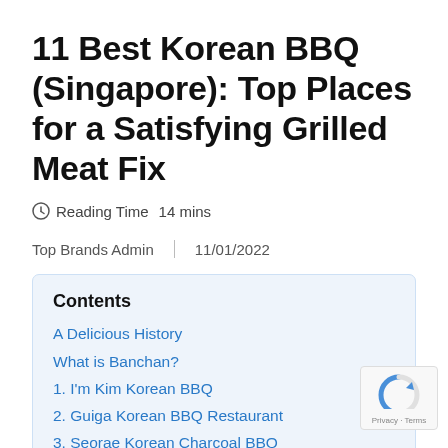11 Best Korean BBQ (Singapore): Top Places for a Satisfying Grilled Meat Fix
Reading Time  14 mins
Top Brands Admin  |  11/01/2022
Contents
A Delicious History
What is Banchan?
1. I'm Kim Korean BBQ
2. Guiga Korean BBQ Restaurant
3. Seorae Korean Charcoal BBQ
4. Jangsu Korean BBQ